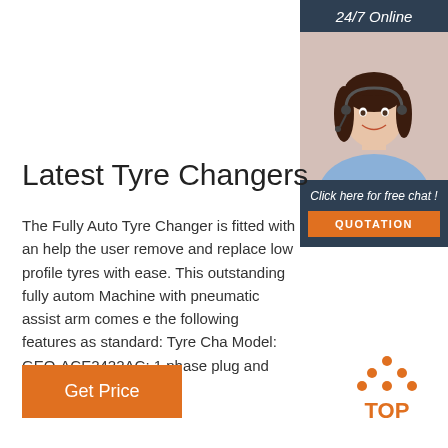[Figure (other): 24/7 Online banner with customer service agent wearing headset]
Latest Tyre Changers
The Fully Auto Tyre Changer is fitted with an help the user remove and replace low profile tyres with ease. This outstanding fully autom Machine with pneumatic assist arm comes e the following features as standard: Tyre Cha Model: GEO-ACE2422AC; 1 phase plug and play.
Get Price
[Figure (logo): TOP logo with orange dots forming a triangle above the word TOP]